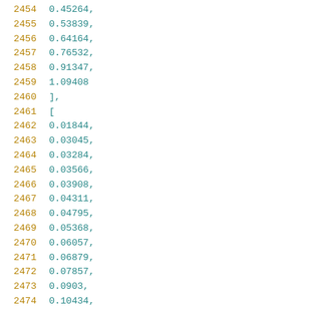2454    0.45264,
2455    0.53839,
2456    0.64164,
2457    0.76532,
2458    0.91347,
2459    1.09408
2460    ],
2461    [
2462    0.01844,
2463    0.03045,
2464    0.03284,
2465    0.03566,
2466    0.03908,
2467    0.04311,
2468    0.04795,
2469    0.05368,
2470    0.06057,
2471    0.06879,
2472    0.07857,
2473    0.0903,
2474    0.10434,